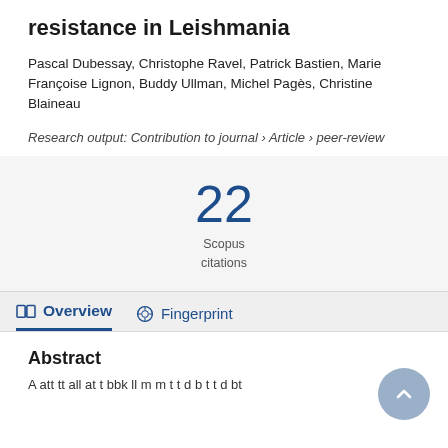resistance in Leishmania
Pascal Dubessay, Christophe Ravel, Patrick Bastien, Marie Françoise Lignon, Buddy Ullman, Michel Pagès, Christine Blaineau
Research output: Contribution to journal › Article › peer-review
22
Scopus
citations
Abstract